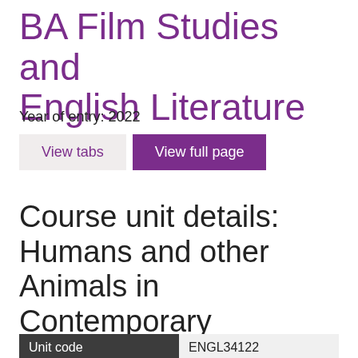BA Film Studies and English Literature
Year of entry: 2022
[Figure (screenshot): Two buttons: 'View tabs' (light grey background, purple text) and 'View full page' (purple background, white text)]
Course unit details: Humans and other Animals in Contemporary Literature
| Unit code | ENGL34122 |
| --- | --- |